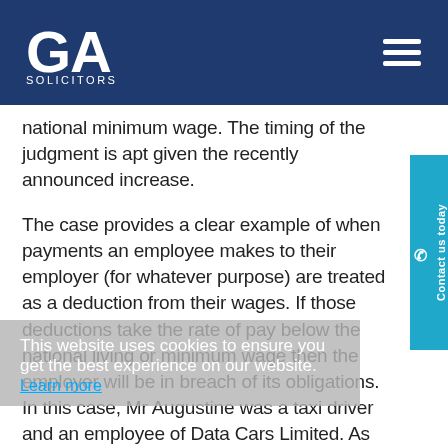GA Solicitors
national minimum wage. The timing of the judgment is apt given the recently announced increase.
The case provides a clear example of when payments an employee makes to their employer (for whatever purpose) are treated as a deduction from their wages. If those deductions take the rate of pay below the national living or minimum wage then the employer will be in breach of its obligations.
In this case, Mr Augustine was a taxi driver and an employee of Data Cars Limited. As an employee, Mr Augustine was entitled to receive national minimum wage at the appropriate rate. Mr Augustine rented both a car and a uniform from